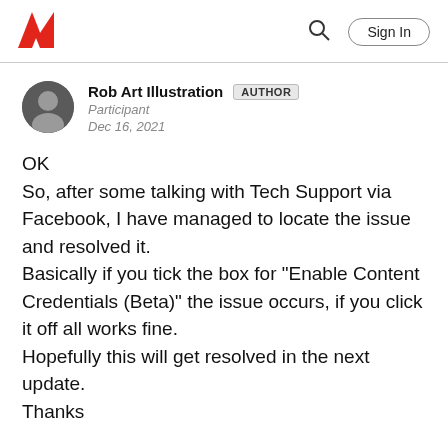Adobe | Sign In
[Figure (illustration): User avatar: headshot of a person in a circular crop]
Rob Art Illustration AUTHOR
Participant
Dec 16, 2021
OK
So, after some talking with Tech Support via Facebook, I have managed to locate the issue and resolved it.
Basically if you tick the box for "Enable Content Credentials (Beta)" the issue occurs, if you click it off all works fine.
Hopefully this will get resolved in the next update.
Thanks